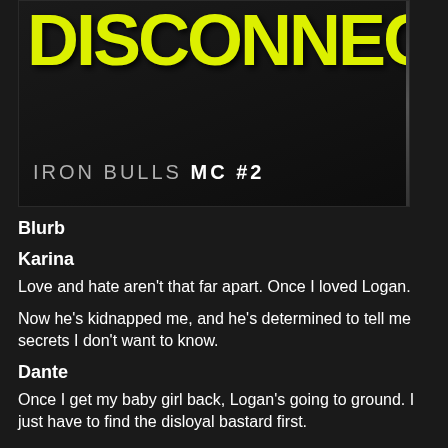[Figure (illustration): Book cover for 'Disconnect: Iron Bulls MC #2'. Dark background with large yellow/lime distressed text reading 'DISCONNECT' at the top, and white/grey text below reading 'IRON BULLS MC #2'.]
Blurb
Karina
Love and hate aren't that far apart. Once I loved Logan.
Now he's kidnapped me, and he's determined to tell me secrets I don't want to know.
Dante
Once I get my baby girl back, Logan's going to ground. I just have to find the disloyal bastard first.